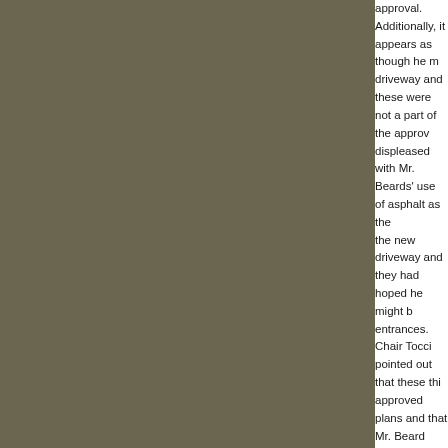approval.  Additionally, it appears as though he moved the driveway and these were not a part of the approved plans.  Members were displeased with Mr. Beards' use of asphalt as the base layer for the new driveway and they had hoped he might have used stone entrances.  Chair Tocci pointed out that these things were in the approved plans and that Mr. Beard should have relied on these going forward with his project.  She also noted that there was currently water runoff from the property and the rain gardens, which would surely have an effect on these.
Mr. Beard explained that he would be willing to take the steps planned.  Commenting that asphalt is the base layer, he felt it might make more sense for him to wait until his kids were done with skateboards in the driveway before taking this step; he would do this in whichever way the BAR preferred.   He further stated that with his tennis court, the amount of run-off moving toward the road was reduced and that currently, a majority of this water runs to the back.  As a result, giant dry wells have been installed.  He has worked with the Building Inspector over the course of the past year on water management in an effort to abate these issues.
Mr. Beard's engineer then gave a brief review of the dry wells, explaining how they were a helpful addition to the property.
Building Inspector John Ledwith inquired as to whether he could provide the Village that the water coming off the...